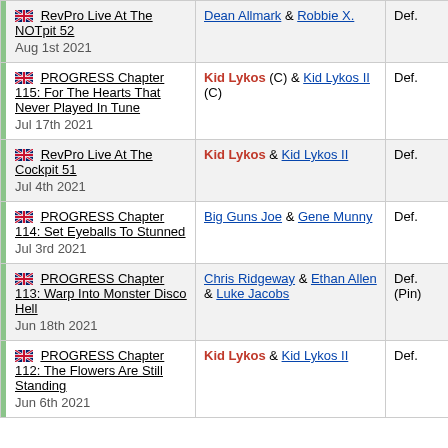| Event | Opponent | Result |
| --- | --- | --- |
| RevPro Live At The NOTpit 52
Aug 1st 2021 | Dean Allmark & Robbie X. | Def. |
| PROGRESS Chapter 115: For The Hearts That Never Played In Tune
Jul 17th 2021 | Kid Lykos (C) & Kid Lykos II (C) | Def. |
| RevPro Live At The Cockpit 51
Jul 4th 2021 | Kid Lykos & Kid Lykos II | Def. |
| PROGRESS Chapter 114: Set Eyeballs To Stunned
Jul 3rd 2021 | Big Guns Joe & Gene Munny | Def. |
| PROGRESS Chapter 113: Warp Into Monster Disco Hell
Jun 18th 2021 | Chris Ridgeway & Ethan Allen & Luke Jacobs | Def. (Pin) |
| PROGRESS Chapter 112: The Flowers Are Still Standing
Jun 6th 2021 | Kid Lykos & Kid Lykos II | Def. |